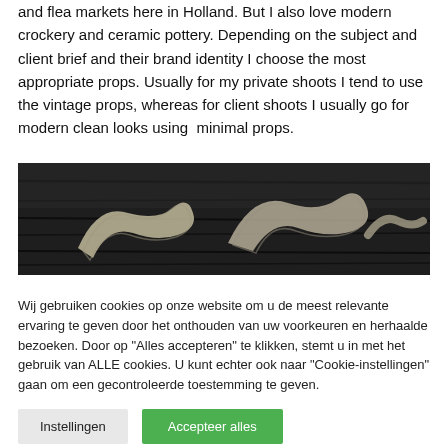and flea markets here in Holland. But I also love modern crockery and ceramic pottery. Depending on the subject and client brief and their brand identity I choose the most appropriate props. Usually for my private shoots I tend to use the vintage props, whereas for client shoots I usually go for modern clean looks using  minimal props.
[Figure (photo): Black and white photograph of twisted fabric or cloth ribbons arranged on a dark wooden surface, viewed from above.]
Wij gebruiken cookies op onze website om u de meest relevante ervaring te geven door het onthouden van uw voorkeuren en herhaalde bezoeken. Door op "Alles accepteren" te klikken, stemt u in met het gebruik van ALLE cookies. U kunt echter ook naar "Cookie-instellingen" gaan om een gecontroleerde toestemming te geven.